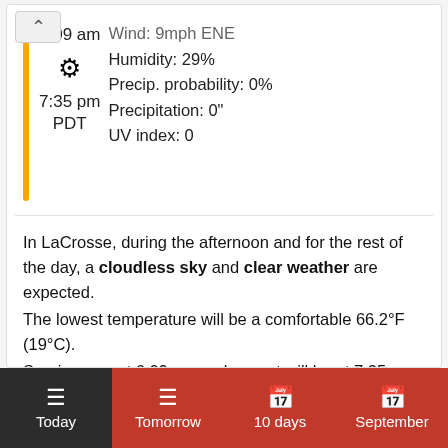Wind: 9mph ENE
Humidity: 29%
Precip. probability: 0%
Precipitation: 0"
UV index: 0
6:09 am
☀
7:35 pm
PDT
In LaCrosse, during the afternoon and for the rest of the day, a cloudless sky and clear weather are expected.
The lowest temperature will be a comfortable 66.2°F (19°C).
Sunrise was at 6:09 am and sunset will be at 7:35 pm; the daylight will last for 13h and 26min.
Today  Tomorrow  10 days  September